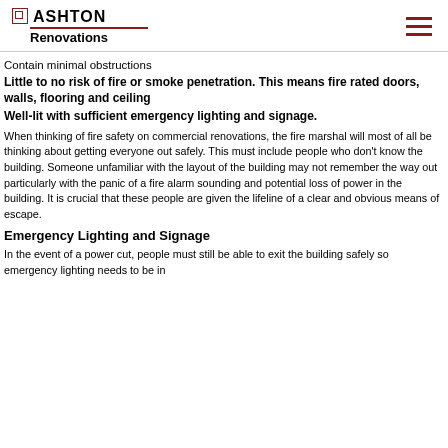ASHTON Renovations
Contain minimal obstructions
Little to no risk of fire or smoke penetration. This means fire rated doors, walls, flooring and ceiling
Well-lit with sufficient emergency lighting and signage.
When thinking of fire safety on commercial renovations, the fire marshal will most of all be thinking about getting everyone out safely. This must include people who don't know the building. Someone unfamiliar with the layout of the building may not remember the way out particularly with the panic of a fire alarm sounding and potential loss of power in the building. It is crucial that these people are given the lifeline of a clear and obvious means of escape.
Emergency Lighting and Signage
In the event of a power cut, people must still be able to exit the building safely so emergency lighting needs to be in